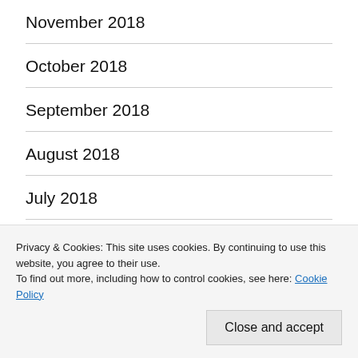November 2018
October 2018
September 2018
August 2018
July 2018
June 2018
May 2018
April 2018
Privacy & Cookies: This site uses cookies. By continuing to use this website, you agree to their use.
To find out more, including how to control cookies, see here: Cookie Policy